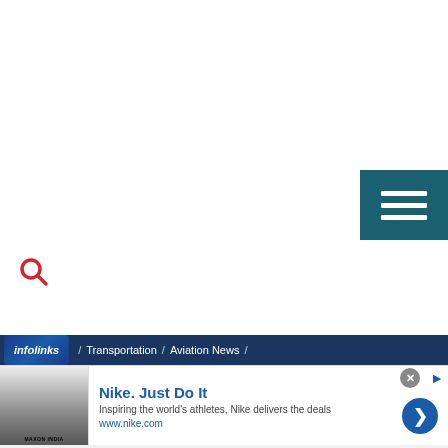[Figure (screenshot): Hamburger menu button with three white horizontal bars on dark teal background, positioned top right]
[Figure (screenshot): Red search (magnifying glass) icon on white background]
infolinks / Transportation / Aviation News /
[Figure (screenshot): Advertisement banner: Nike. Just Do It — Inspiring the world's athletes, Nike delivers the deals. www.nike.com]
Nike. Just Do It
Inspiring the world's athletes, Nike delivers the deals
www.nike.com